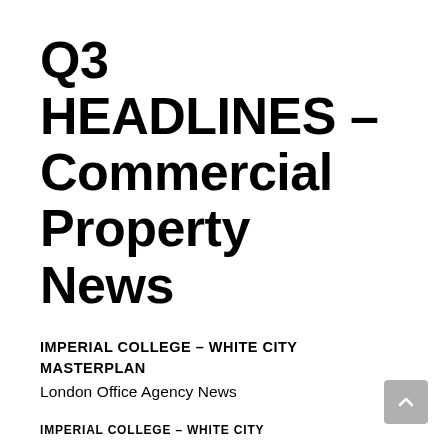Q3 HEADLINES – Commercial Property News
IMPERIAL COLLEGE – WHITE CITY MASTERPLAN
London Office Agency News
IMPERIAL COLLEGE – WHITE CITY
Imperial College London have gained consent for the approval of their masterplan in Wood Lane, (just south of The Westway and opposite the